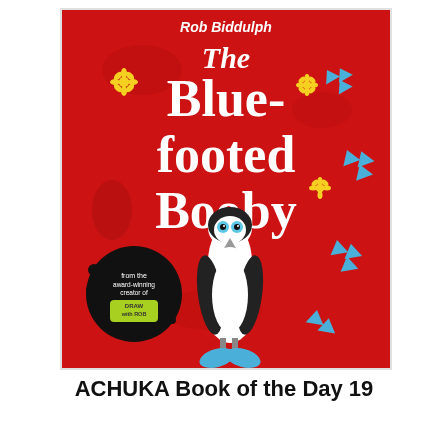[Figure (illustration): Book cover of 'The Blue-footed Booby' by Rob Biddulph. Red background with white stylized lettering for the title. A cartoon booby bird with blue feet stands in the center. Decorative blue arrow/leaf shapes and yellow daisy flowers scattered around. Black circular badge reads 'from the award-winning creator of Draw with Rob' with a green 'Draw with Rob' logo.]
ACHUKA Book of the Day 19